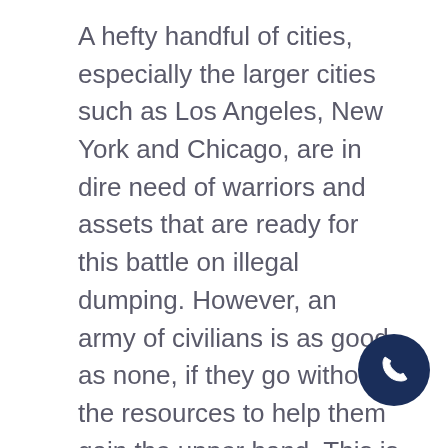A hefty handful of cities, especially the larger cities such as Los Angeles, New York and Chicago, are in dire need of warriors and assets that are ready for this battle on illegal dumping. However, an army of civilians is as good as none, if they go without the resources to help them gain the upper hand. This is an issue that can financially sink a city if the proper resource plan is not instigated wisely.
An imperative resource in helping any city combat illegal-dumping is education. Keep the public educated on littering and illegal trash dumping. Many civilians are simply unaware of all the laws involved on what exactly is considered illegal dumping. Another concern that needs to be addressed is the lack of knowledge many city residents have on exactly where to dump their trash legally. Educating the public is where non-profits
[Figure (other): Dark navy blue circular phone/call button icon in the bottom right corner]